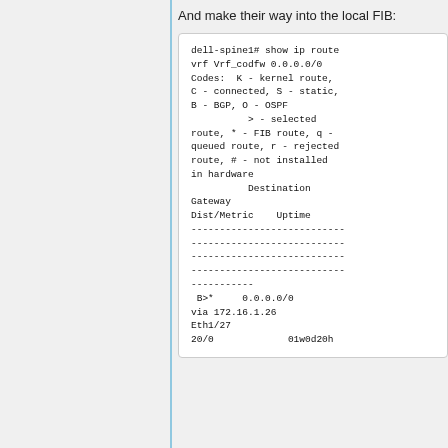And make their way into the local FIB:
dell-spine1# show ip route vrf Vrf_codfw 0.0.0.0/0
Codes:  K - kernel route,
C - connected, S - static,
B - BGP, O - OSPF
          > - selected route, * - FIB route, q -
queued route, r - rejected route, # - not installed
in hardware
          Destination Gateway
Dist/Metric     Uptime
---------------------------------------------
---------------------------------------------
---------------------------------------------
---------------------------------------------
-----------
 B>*     0.0.0.0/0
via 172.16.1.26 Eth1/27
20/0              01w0d20h